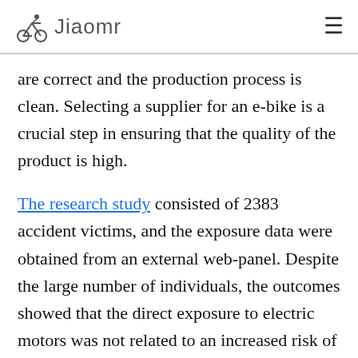Jiaomr
are correct and the production process is clean. Selecting a supplier for an e-bike is a crucial step in ensuring that the quality of the product is high.
The research study consisted of 2383 accident victims, and the exposure data were obtained from an external web-panel. Despite the large number of individuals, the outcomes showed that the direct exposure to electric motors was not related to an increased risk of accidents. The follow-up study showed significant that in risk...